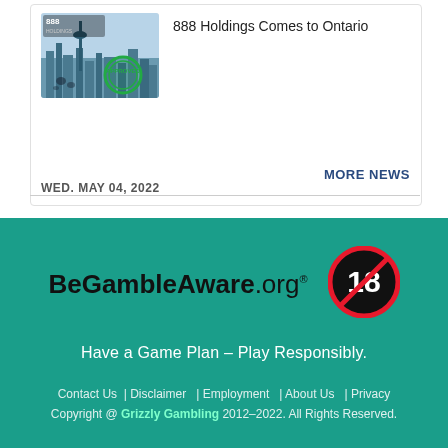[Figure (photo): 888 Holdings logo with city skyline background and green 'Approved' stamp]
888 Holdings Comes to Ontario
WED. MAY 04, 2022
MORE NEWS
[Figure (logo): BeGambleAware.org logo with registered trademark symbol]
[Figure (logo): 18+ age restriction badge - red circle with 18 and a line through it]
Have a Game Plan – Play Responsibly.
Contact Us  | Disclaimer  | Employment  | About Us  | Privacy
Copyright @ Grizzly Gambling 2012–2022. All Rights Reserved.